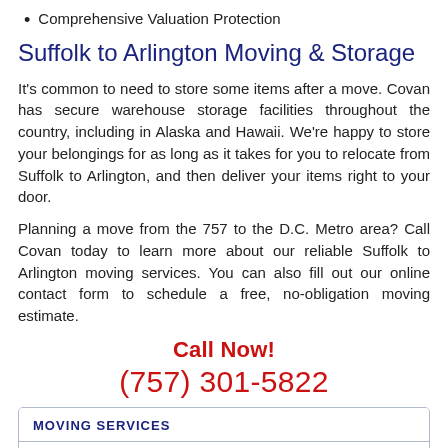Comprehensive Valuation Protection
Suffolk to Arlington Moving & Storage
It's common to need to store some items after a move. Covan has secure warehouse storage facilities throughout the country, including in Alaska and Hawaii. We're happy to store your belongings for as long as it takes for you to relocate from Suffolk to Arlington, and then deliver your items right to your door.
Planning a move from the 757 to the D.C. Metro area? Call Covan today to learn more about our reliable Suffolk to Arlington moving services. You can also fill out our online contact form to schedule a free, no-obligation moving estimate.
Call Now!
(757) 301-5822
MOVING SERVICES
Household Movers